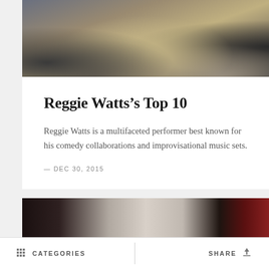[Figure (photo): Person crouching on a rocky coastline surface, shot from above, dark clothing, rocks and water visible in background]
Reggie Watts’s Top 10
Reggie Watts is a multifaceted performer best known for his comedy collaborations and improvisational music sets.
— DEC 30, 2015
[Figure (photo): Dark image with a figure in white standing in doorway, dark red tones on right side]
CATEGORIES   SHARE